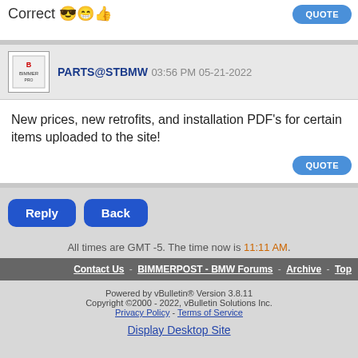Correct 😎😁👍
PARTS@STBMW 03:56 PM 05-21-2022
New prices, new retrofits, and installation PDF's for certain items uploaded to the site!
Reply  Back
All times are GMT -5. The time now is 11:11 AM.
Contact Us - BIMMERPOST - BMW Forums - Archive - Top
Powered by vBulletin® Version 3.8.11
Copyright ©2000 - 2022, vBulletin Solutions Inc.
Privacy Policy - Terms of Service
Display Desktop Site